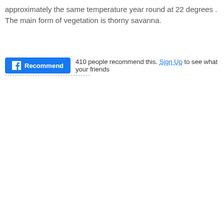approximately the same temperature year round at 22 degrees . The main form of vegetation is thorny savanna.
[Figure (other): Facebook Recommend button followed by social plugin text: '410 people recommend this. Sign Up to see what your friends recommend']